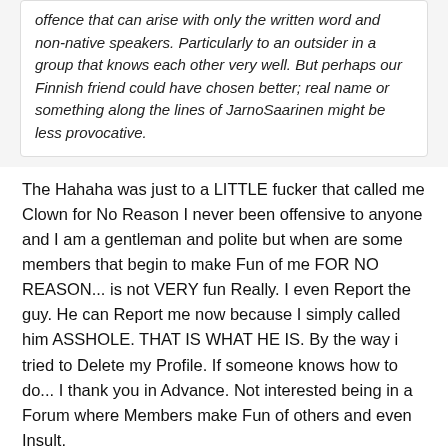offence that can arise with only the written word and non-native speakers. Particularly to an outsider in a group that knows each other very well. But perhaps our Finnish friend could have chosen better; real name or something along the lines of JarnoSaarinen might be less provocative.
The Hahaha was just to a LITTLE fucker that called me Clown for No Reason I never been offensive to anyone and I am a gentleman and polite but when are some members that begin to make Fun of me FOR NO REASON... is not VERY fun Really. I even Report the guy. He can Report me now because I simply called him ASSHOLE. THAT IS WHAT HE IS. By the way i tried to Delete my Profile. If someone knows how to do... I thank you in Advance. Not interested being in a Forum where Members make Fun of others and even Insult.
Home  Last  Log in